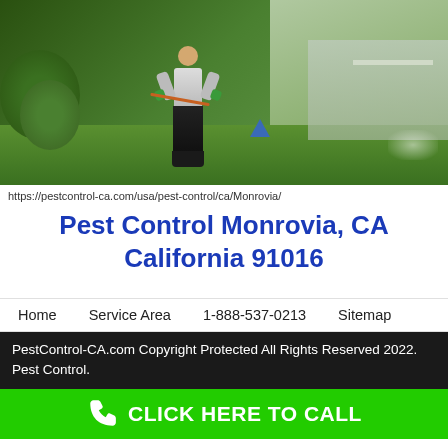[Figure (photo): Pest control worker wearing dark pants and gloves, spraying pesticide on a green lawn with lush shrubs and trees in the background. A blue triangular flag marker is visible on the lawn.]
https://pestcontrol-ca.com/usa/pest-control/ca/Monrovia/
Pest Control Monrovia, CA California 91016
Home   Service Area   1-888-537-0213   Sitemap
PestControl-CA.com Copyright Protected All Rights Reserved 2022. Pest Control.
CLICK HERE TO CALL